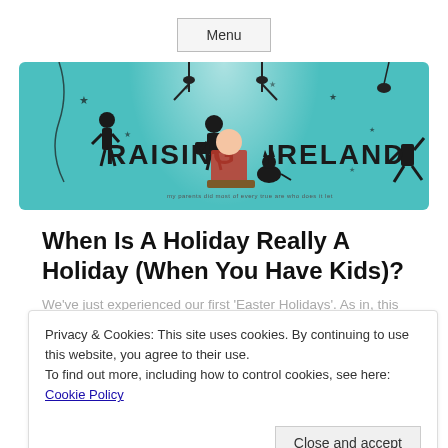Menu
[Figure (illustration): Raising Ireland blog banner with teal background, silhouetted figures (girl, camera operator, blogger at desk, person exercising), stars, spotlights, and text 'RAISING IRELAND']
When Is A Holiday Really A Holiday (When You Have Kids)?
We've just experienced our first 'Easter Holidays'. As in, this year we have a kid in a pre-school that closes the doors for two full weeks so we can all stuff ourselves with chocolate or whatever.
Privacy & Cookies: This site uses cookies. By continuing to use this website, you agree to their use.
To find out more, including how to control cookies, see here: Cookie Policy
Close and accept